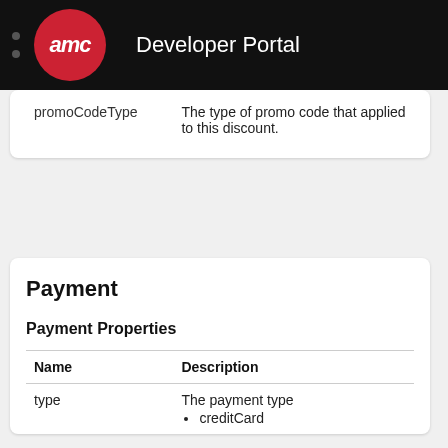AMC Developer Portal
| Name | Description |
| --- | --- |
| promoCodeType | The type of promo code that applied to this discount. |
Payment
Payment Properties
| Name | Description |
| --- | --- |
| type | The payment type
• creditCard |